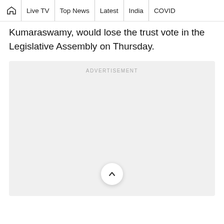🏠 | Live TV | Top News | Latest | India | COVID
Kumaraswamy, would lose the trust vote in the Legislative Assembly on Thursday.
[Figure (other): Advertisement placeholder box with light gray background and 'ADVERTISEMENT' label centered at top. Contains a circular scroll-up button at the bottom center.]